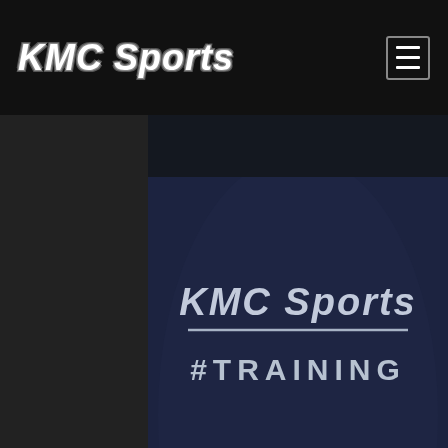KMC Sports
[Figure (photo): Person wearing a navy blue KMC Sports #TRAINING shirt, cropped to show torso with shirt text prominent]
BIO
Ken's love for the game grew through his daughter's love of the game of softball. Realizing the need for quality instruction for young players, Ken began coaching in 1996